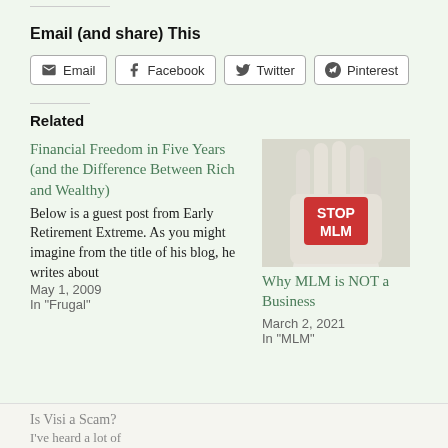Email (and share) This
Email | Facebook | Twitter | Pinterest
Related
Financial Freedom in Five Years (and the Difference Between Rich and Wealthy)
Below is a guest post from Early Retirement Extreme. As you might imagine from the title of his blog, he writes about
May 1, 2009
In "Frugal"
[Figure (photo): A hand with palm facing outward, stamped with a red label reading STOP MLM]
Why MLM is NOT a Business
March 2, 2021
In "MLM"
Is Visi a Scam?
I've heard a lot of